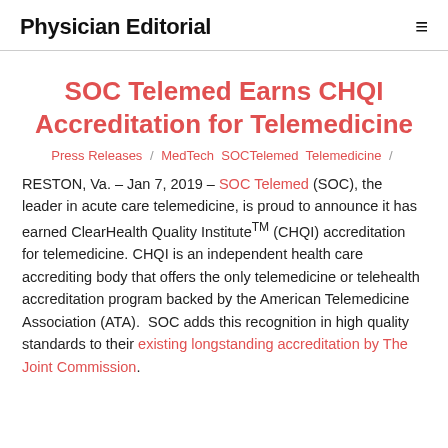Physician Editorial
SOC Telemed Earns CHQI Accreditation for Telemedicine
Press Releases / MedTech  SOCTelemed  Telemedicine /
RESTON, Va. – Jan 7, 2019 – SOC Telemed (SOC), the leader in acute care telemedicine, is proud to announce it has earned ClearHealth Quality Institute™ (CHQI) accreditation for telemedicine. CHQI is an independent health care accrediting body that offers the only telemedicine or telehealth accreditation program backed by the American Telemedicine Association (ATA).  SOC adds this recognition in high quality standards to their existing longstanding accreditation by The Joint Commission.